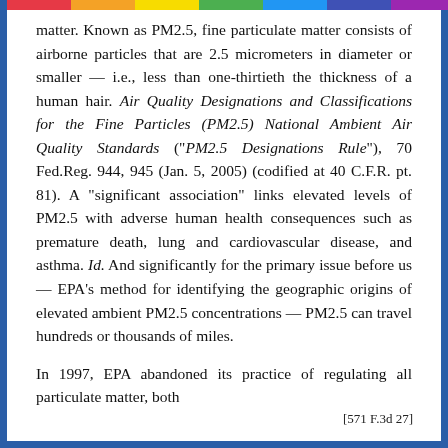matter. Known as PM2.5, fine particulate matter consists of airborne particles that are 2.5 micrometers in diameter or smaller — i.e., less than one-thirtieth the thickness of a human hair. Air Quality Designations and Classifications for the Fine Particles (PM2.5) National Ambient Air Quality Standards (" PM2.5 Designations Rule"), 70 Fed.Reg. 944, 945 (Jan. 5, 2005) (codified at 40 C.F.R. pt. 81). A "significant association" links elevated levels of PM2.5 with adverse human health consequences such as premature death, lung and cardiovascular disease, and asthma. Id. And significantly for the primary issue before us — EPA's method for identifying the geographic origins of elevated ambient PM2.5 concentrations — PM2.5 can travel hundreds or thousands of miles.
In 1997, EPA abandoned its practice of regulating all particulate matter, both
[571 F.3d 27]